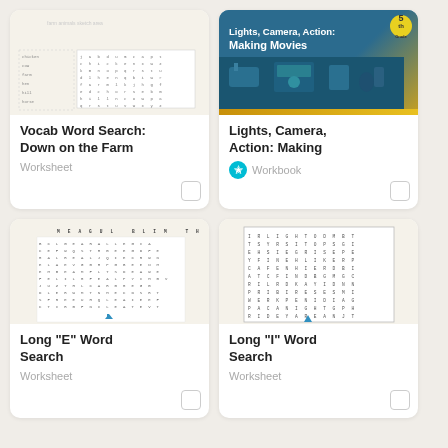[Figure (illustration): Farm vocab word search worksheet thumbnail with cartoon farm animals]
Vocab Word Search: Down on the Farm
Worksheet
[Figure (illustration): Lights, Camera, Action: Making Movies workbook cover, teal/dark blue with gold stripe, 5th grade badge]
Lights, Camera, Action: Making
Workbook
[Figure (illustration): Long E word search grid thumbnail]
Long "E" Word Search
Worksheet
[Figure (illustration): Long I word search grid thumbnail]
Long "I" Word Search
Worksheet